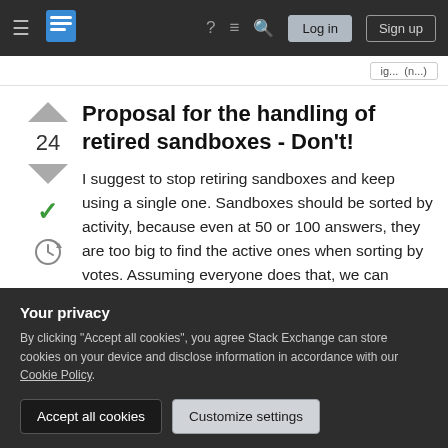≡  [logo]  ?  ≡  🔍  Log in  Sign up
ig... (n...)
Proposal for the handling of retired sandboxes - Don't!
I suggest to stop retiring sandboxes and keep using a single one. Sandboxes should be sorted by activity, because even at 50 or 100 answers, they are too big to find the active ones when sorting by votes. Assuming everyone does that, we can basically forget about the additional pages, because
Your privacy
By clicking "Accept all cookies", you agree Stack Exchange can store cookies on your device and disclose information in accordance with our Cookie Policy.
Accept all cookies    Customize settings
they will probably make some edits which will also